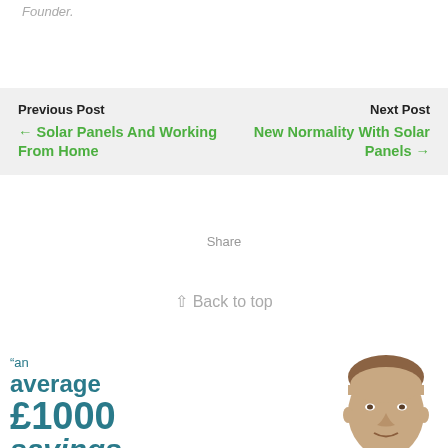Founder.
Previous Post
← Solar Panels And Working From Home
Next Post
New Normality With Solar Panels →
Share
↑ Back to top
[Figure (infographic): Promotional banner with text reading: "an average £1000 savings" with a photo of a man's head on the right side. Teal/dark cyan colored text on white background.]